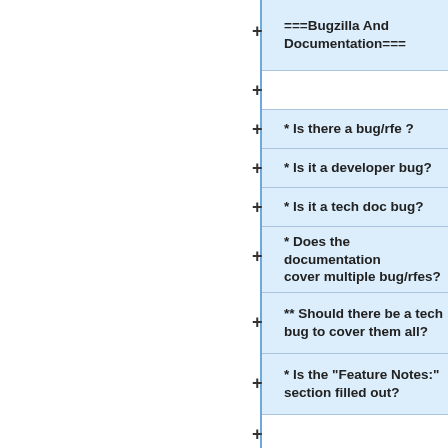===Bugzilla And Documentation===
* Is there a bug/rfe ?
* Is it a developer bug?
* Is it a tech doc bug?
* Does the documentation cover multiple bug/rfes?
** Should there be a tech bug to cover them all?
* Is the "Feature Notes:" section filled out?
===Where To Create===